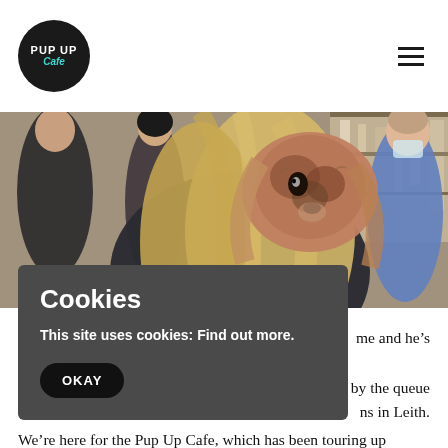[Figure (logo): Pup Up Cafe circular logo with white text on dark background and teal cursive 'Cafe' text]
[Figure (photo): A small dog (Chinese Crested or similar) being held over the shoulder of a person with long blonde hair in a busy cafe environment]
me and he's
by the queue ns in Leith.
[Figure (screenshot): Cookie consent overlay with dark grey background. Title: 'Cookies'. Body: 'This site uses cookies: Find out more.' Button: 'OKAY']
We’re here for the Pup Up Cafe, which has been touring up